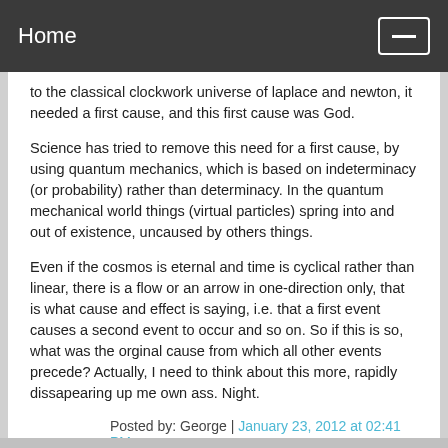Home
to the classical clockwork universe of laplace and newton, it needed a first cause, and this first cause was God.
Science has tried to remove this need for a first cause, by using quantum mechanics, which is based on indeterminacy (or probability) rather than determinacy. In the quantum mechanical world things (virtual particles) spring into and out of existence, uncaused by others things.
Even if the cosmos is eternal and time is cyclical rather than linear, there is a flow or an arrow in one-direction only, that is what cause and effect is saying, i.e. that a first event causes a second event to occur and so on. So if this is so, what was the orginal cause from which all other events precede? Actually, I need to think about this more, rapidly dissapearing up me own ass. Night.
Posted by: George | January 23, 2012 at 02:41 PM